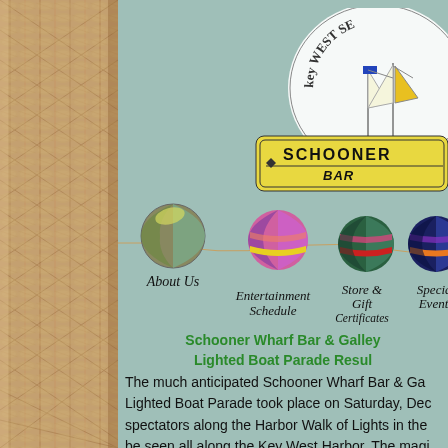[Figure (photo): Rope texture on left sidebar]
[Figure (logo): Key West Schooner Wharf Bar logo with sailing ship illustration and 'SCHOONER BAR' text on yellow sign]
[Figure (infographic): Navigation bar with four decorative painted balls on a rope, labeled: About Us, Entertainment Schedule, Store & Gift Certificates, Special Events]
Schooner Wharf Bar & Galley Lighted Boat Parade Results
The much anticipated Schooner Wharf Bar & Galley Lighted Boat Parade took place on Saturday, Dec spectators along the Harbor Walk of Lights in the be seen all along the Key West Harbor. The magi island's holiday spirited mariners dazzled, awed